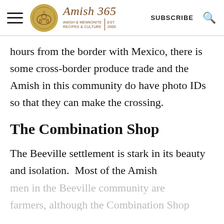Amish 365 — AMISH & MENNONITE RECIPES & CULTURE | EST. 2000 | SUBSCRIBE
hours from the border with Mexico, there is some cross-border produce trade and the Amish in this community do have photo IDs so that they can make the crossing.
The Combination Shop
The Beeville settlement is stark in its beauty and isolation.  Most of the Amish men in the Beeville community are farmers, although the Combination Shop...